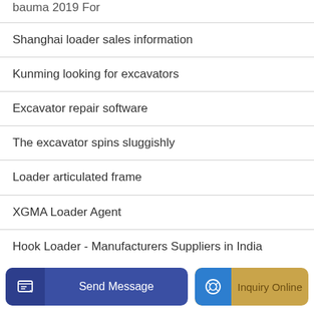bauma 2019 For
Shanghai loader sales information
Kunming looking for excavators
Excavator repair software
The excavator spins sluggishly
Loader articulated frame
XGMA Loader Agent
Hook Loader - Manufacturers Suppliers in India
Send Message
Inquiry Online